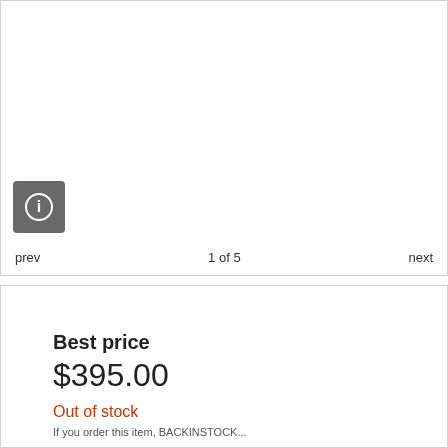[Figure (screenshot): Product image viewer area with info button overlay, currently showing blank/white image area]
prev   1 of 5   next
Best price
$395.00
Out of stock
If you order this item, BACKINSTOCK...